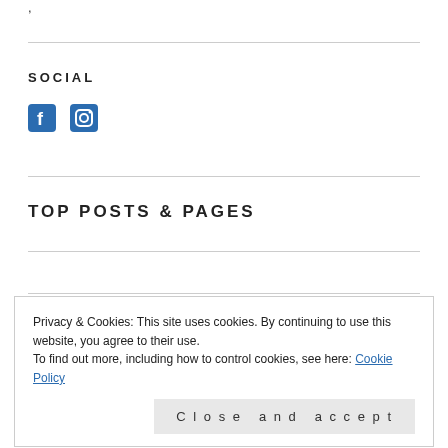SOCIAL
[Figure (illustration): Facebook and Instagram social media icons in blue]
TOP POSTS & PAGES
Time for Another Blog Hop!
Privacy & Cookies: This site uses cookies. By continuing to use this website, you agree to their use.
To find out more, including how to control cookies, see here: Cookie Policy
Close and accept